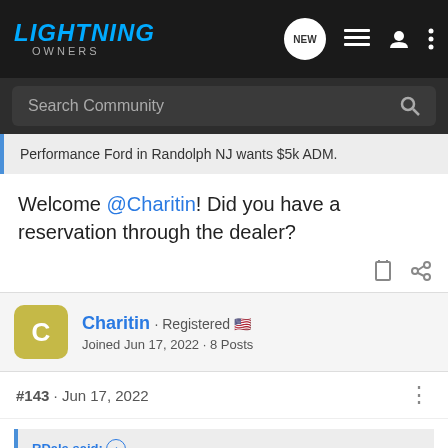LIGHTNING OWNERS
Search Community
Performance Ford in Randolph NJ wants $5k ADM.
Welcome @Charitin! Did you have a reservation through the dealer?
Charitin · Registered 🇺🇸
Joined Jun 17, 2022 · 8 Posts
#143 · Jun 17, 2022
RDale said: ↑
Welcome @Charitin! Did you have a reservation through the dealer?